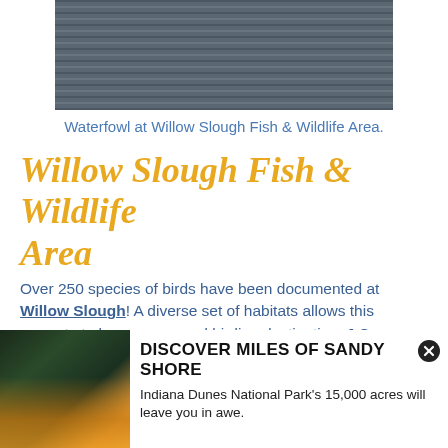[Figure (photo): Aerial or wide view of waterfowl at Willow Slough Fish & Wildlife Area — large flock of birds over water/wetland.]
Waterfowl at Willow Slough Fish & Wildlife Area.
Willow Slough Fish & Wildlife Area
Over 250 species of birds have been documented at Willow Slough! A diverse set of habitats allows this property to be a year-round birding destination. J.C. Murphey Lake, located on the property, attracts migrating waterfowl and is a hotspot to see migrating American White Pelicans, Bald Eagles. Osprey and Sandhill Cranes. Waterfowl also like to
[Figure (photo): Photo of Indiana Dunes National Park beach at sunset with sandy shore and tree silhouette.]
DISCOVER MILES OF SANDY SHORE
Indiana Dunes National Park's 15,000 acres will leave you in awe.